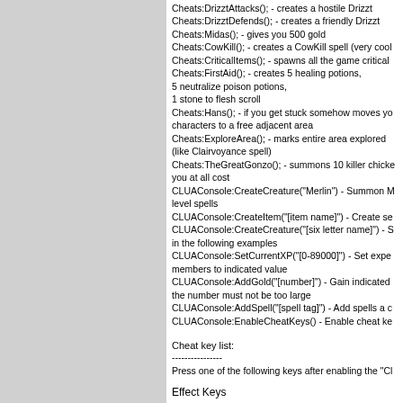Cheats:DrizztAttacks(); - creates a hostile Drizzt
Cheats:DrizztDefends(); - creates a friendly Drizzt
Cheats:Midas(); - gives you 500 gold
Cheats:CowKill(); - creates a CowKill spell (very cool)
Cheats:CriticalItems(); - spawns all the game critical
Cheats:FirstAid(); - creates 5 healing potions,
5 neutralize poison potions,
1 stone to flesh scroll
Cheats:Hans(); - if you get stuck somehow moves your
characters to a free adjacent area
Cheats:ExploreArea(); - marks entire area explored
(like Clairvoyance spell)
Cheats:TheGreatGonzo(); - summons 10 killer chickens that attack
you at all cost
CLUAConsole:CreateCreature("Merlin") - Summon Merlin with high
level spells
CLUAConsole:CreateItem("[item name]") - Create selected item
CLUAConsole:CreateCreature("[six letter name]") - See examples
in the following examples
CLUAConsole:SetCurrentXP("[0-89000]") - Set experience of party
members to indicated value
CLUAConsole:AddGold("[number]") - Gain indicated amount of gold;
the number must not be too large
CLUAConsole:AddSpell("[spell tag]") - Add spells a character
CLUAConsole:EnableCheatKeys() - Enable cheat keys
Cheat key list:
----------------
Press one of the following keys after enabling the "CLUAConsole:EnableCheatKeys()"
Effect Keys
--------------------------------------------------------
[Ctrl] + 1 - Change armor of paper doll
[Ctrl] + 2 - Fade screen to black
[Ctrl] + 3 - Fade screen normally
[Ctrl] + 4 - Highlight the background with interactive objects
[Ctrl] + 6 - Shapeshift your character in previous paper